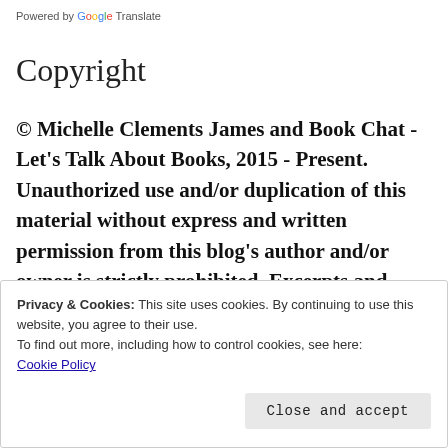Powered by Google Translate
Copyright
© Michelle Clements James and Book Chat - Let's Talk About Books, 2015 - Present. Unauthorized use and/or duplication of this material without express and written permission from this blog's author and/or owner is strictly prohibited. Excerpts and
Privacy & Cookies: This site uses cookies. By continuing to use this website, you agree to their use.
To find out more, including how to control cookies, see here:
Cookie Policy
Close and accept